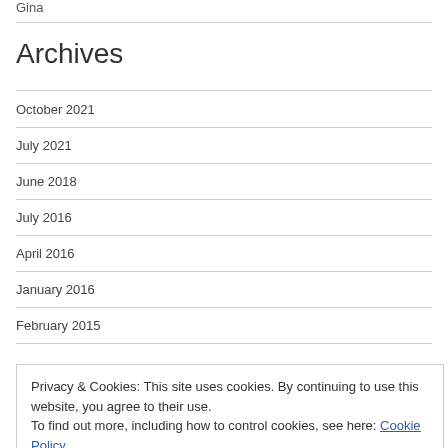Gina
Archives
October 2021
July 2021
June 2018
July 2016
April 2016
January 2016
February 2015
Privacy & Cookies: This site uses cookies. By continuing to use this website, you agree to their use. To find out more, including how to control cookies, see here: Cookie Policy
Close and accept